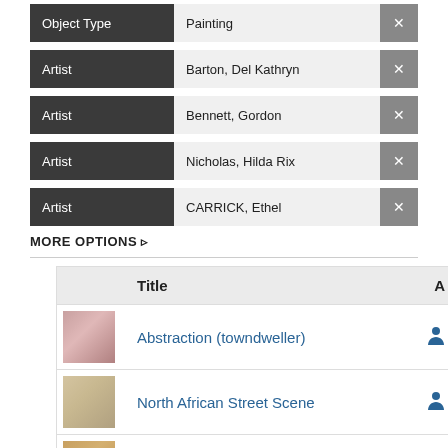| Object Type | Painting | × |
| --- | --- | --- |
| Artist | Barton, Del Kathryn | × |
| --- | --- | --- |
| Artist | Bennett, Gordon | × |
| --- | --- | --- |
| Artist | Nicholas, Hilda Rix | × |
| --- | --- | --- |
| Artist | CARRICK, Ethel | × |
| --- | --- | --- |
MORE OPTIONS ▶
| Title | A |
| --- | --- |
| Abstraction (towndweller) |  |
| North African Street Scene |  |
| Flower Stall |  |